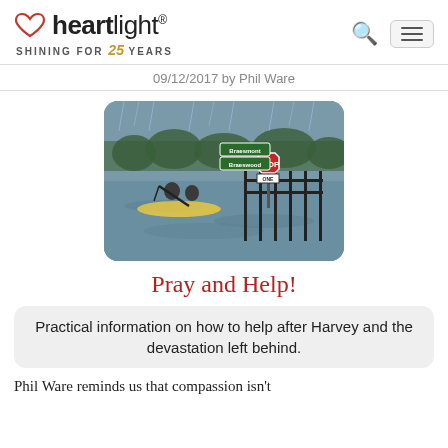heartlight® SHINING FOR 25 YEARS
09/12/2017 by Phil Ware
[Figure (photo): People kayaking through deep floodwaters in Houston during Hurricane Harvey, passing a submerged stop sign and street signs for Braesmont and Braeswood.]
Pray and Help!
Practical information on how to help after Harvey and the devastation left behind.
Phil Ware reminds us that compassion isn't